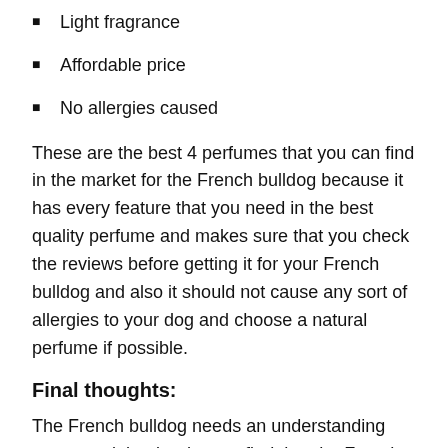Light fragrance
Affordable price
No allergies caused
These are the best 4 perfumes that you can find in the market for the French bulldog because it has every feature that you need in the best quality perfume and makes sure that you check the reviews before getting it for your French bulldog and also it should not cause any sort of allergies to your dog and choose a natural perfume if possible.
Final thoughts:
The French bulldog needs an understanding owner and that is why you find that the French bulldog is happy if you get everything for them whatever they need.
Also most importantly what they need is a healthy lifestyle